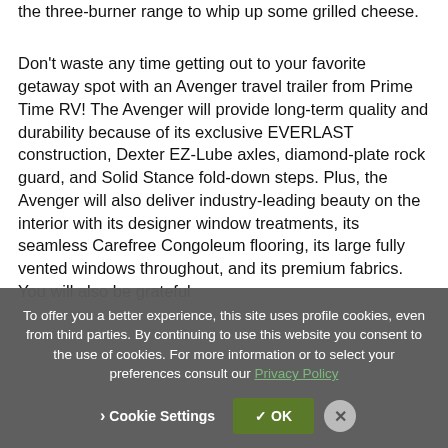the three-burner range to whip up some grilled cheese.
Don't waste any time getting out to your favorite getaway spot with an Avenger travel trailer from Prime Time RV! The Avenger will provide long-term quality and durability because of its exclusive EVERLAST construction, Dexter EZ-Lube axles, diamond-plate rock guard, and Solid Stance fold-down steps. Plus, the Avenger will also deliver industry-leading beauty on the interior with its designer window treatments, its seamless Carefree Congoleum flooring, its large fully vented windows throughout, and its premium fabrics. You will also be grateful
To offer you a better experience, this site uses profile cookies, even from third parties. By continuing to use this website you consent to the use of cookies. For more information or to select your preferences consult our Privacy Policy